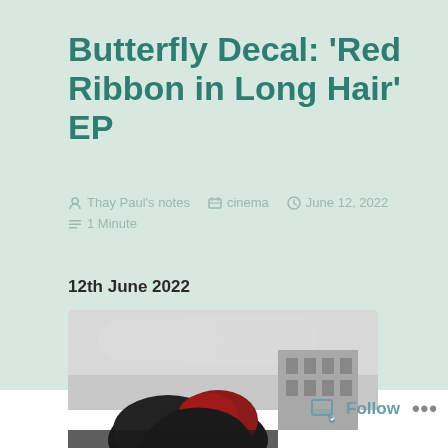Butterfly Decal: ‘Red Ribbon in Long Hair’ EP
▾ Thay Paul’s notes   📂 cinema   ▿ June 12, 2022   ≡ 1 Minute
12th June 2022
[Figure (photo): Black and white photo of a person with dark hair and a red element visible, with a building in the background under an overcast sky.]
Follow ...